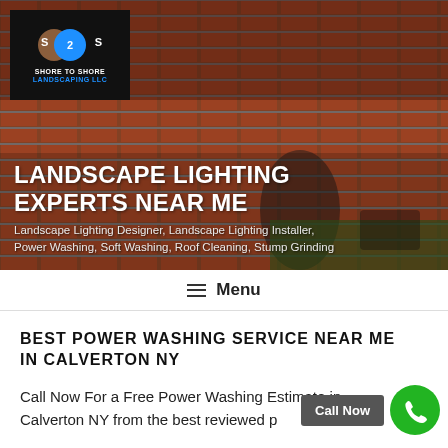[Figure (photo): Hero banner showing brick patio/walkway with a person and garden in background, with Shore to Shore Landscaping LLC logo overlay]
LANDSCAPE LIGHTING EXPERTS NEAR ME
Landscape Lighting Designer, Landscape Lighting Installer, Power Washing, Soft Washing, Roof Cleaning, Stump Grinding
≡ Menu
BEST POWER WASHING SERVICE NEAR ME IN CALVERTON NY
Call Now For a Free Power Washing Estimate in Calverton NY from the best reviewed p
[Figure (other): Call Now button (dark grey) and green phone icon circle button]